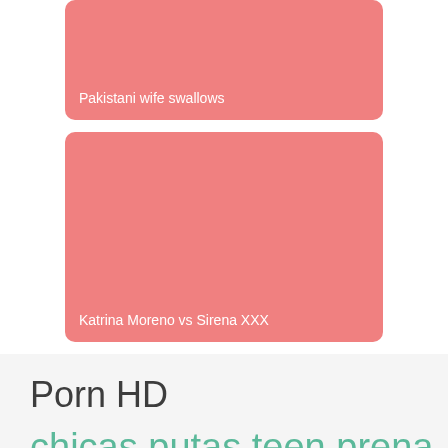[Figure (illustration): Pink rounded rectangle card placeholder image with label 'Pakistani wife swallows' at bottom left]
[Figure (illustration): Pink rounded rectangle card placeholder image with label 'Katrina Moreno vs Sirena XXX' at bottom left]
Porn HD
chicas putas teen prena